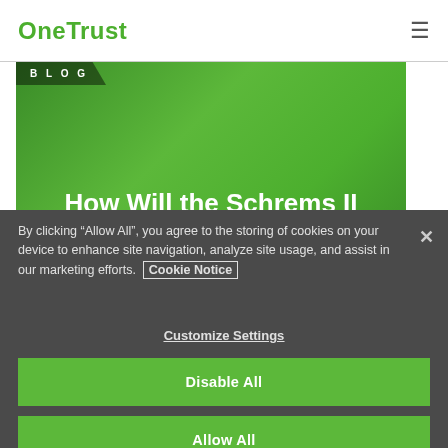OneTrust
[Figure (illustration): Green blog header image with BLOG label and title text 'How Will the Schrems II Decision Impact Your Privacy Program?']
By clicking “Allow All”, you agree to the storing of cookies on your device to enhance site navigation, analyze site usage, and assist in our marketing efforts. Cookie Notice
Customize Settings
Disable All
Allow All